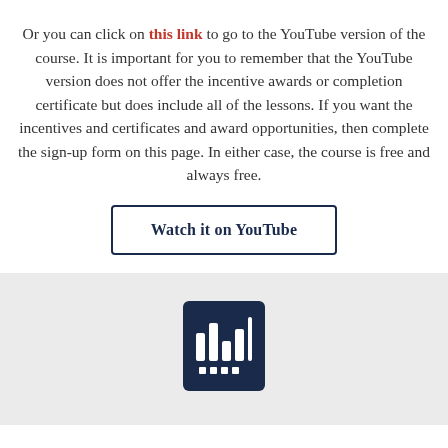Or you can click on this link to go to the YouTube version of the course. It is important for you to remember that the YouTube version does not offer the incentive awards or completion certificate but does include all of the lessons. If you want the incentives and certificates and award opportunities, then complete the sign-up form on this page. In either case, the course is free and always free.
[Figure (other): Button labeled 'Watch it on YouTube' with dark navy border]
[Figure (logo): Dark navy blue logo box with white bar chart-like icon and dots, on a light grey background]